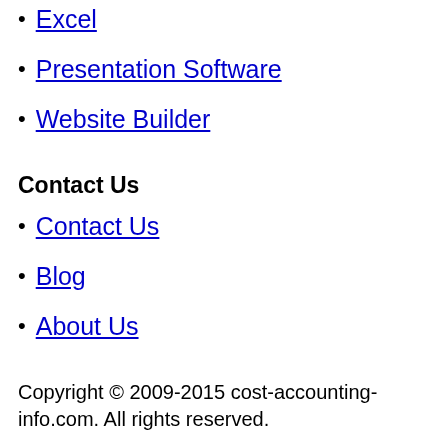Excel
Presentation Software
Website Builder
Contact Us
Contact Us
Blog
About Us
Copyright © 2009-2015 cost-accounting-info.com. All rights reserved.